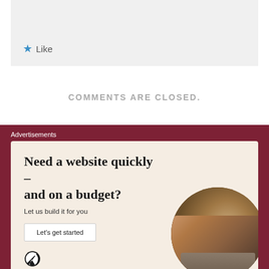Like
COMMENTS ARE CLOSED.
Advertisements
[Figure (infographic): WordPress advertisement: Need a website quickly – and on a budget? Let us build it for you. Button: Let's get started. WordPress logo. Circular photo of hands typing on laptop.]